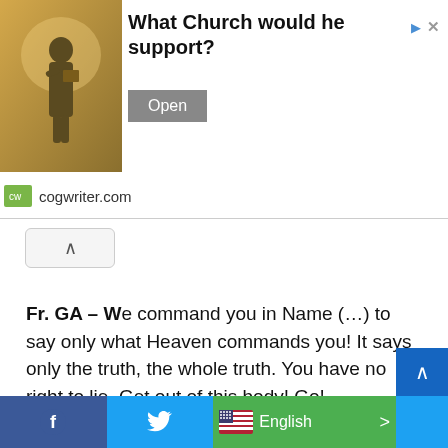[Figure (screenshot): Advertisement banner showing a statue figure with text 'What Church would he support?' and an Open button, with cogwriter.com domain shown below]
Fr. GA – We command you in Name (…) to say only what Heaven commands you! It says only the truth, the whole truth. You have no right to lie. Get out of this body! Go!
Demon – ELA (Virgin Mary) (points up) wants me to say …
Fr. GA – Tell the truth, in Name (…).
[Figure (screenshot): Bottom social media bar with Facebook, Twitter, English language selector, and scroll-up button]